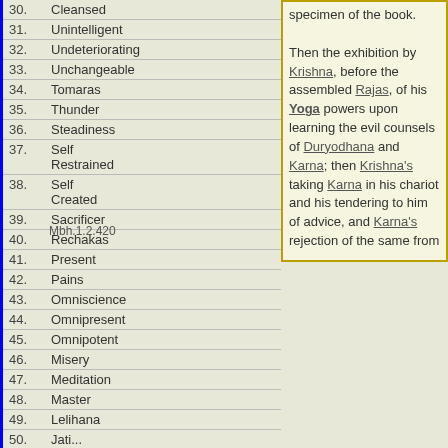| No. | Term | Reference/Note |
| --- | --- | --- |
| 30. | Cleansed |  |
| 31. | Unintelligent |  |
| 32. | Undeteriorating | Then the exhibition by Krishna, before the assembled Rajas, of his Yoga powers upon learning the evil counsels of Duryodhana and Karna; then Krishna's taking Karna in his chariot and his tendering to him of advice, and Karna's rejection of the same from |
| 33. | Unchangeable |  |
| 34. | Tomaras |  |
| 35. | Thunder |  |
| 36. | Steadiness |  |
| 37. | Self Restrained | Mbh.1.2.420 |
| 38. | Self Created |  |
| 39. | Sacrificer |  |
| 40. | Rechakas |  |
| 41. | Present |  |
| 42. | Pains |  |
| 43. | Omniscience |  |
| 44. | Omnipresent |  |
| 45. | Omnipotent |  |
| 46. | Misery |  |
| 47. | Meditation |  |
| 48. | Master |  |
| 49. | Lelihana |  |
| 50. | Jati... |  |